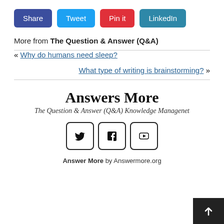[Figure (infographic): Social share buttons: Share (dark blue), Tweet (light blue), Pin it (red), LinkedIn (teal)]
More from The Question & Answer (Q&A)
« Why do humans need sleep?
What type of writing is brainstorming? »
Answers More
The Question & Answer (Q&A) Knowledge Managenet
[Figure (infographic): Social media icon buttons: Twitter, Facebook, YouTube]
Answer More by Answermore.org